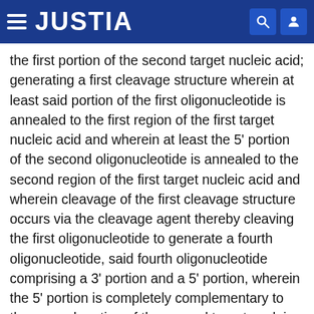JUSTIA
the first portion of the second target nucleic acid; generating a first cleavage structure wherein at least said portion of the first oligonucleotide is annealed to the first region of the first target nucleic acid and wherein at least the 5' portion of the second oligonucleotide is annealed to the second region of the first target nucleic acid and wherein cleavage of the first cleavage structure occurs via the cleavage agent thereby cleaving the first oligonucleotide to generate a fourth oligonucleotide, said fourth oligonucleotide comprising a 3' portion and a 5' portion, wherein the 5' portion is completely complementary to the second portion of the second target nucleic acid; generating a second cleavage structure under conditions wherein at least said portion of the third oligonucleotide is annealed to the first region of the second target nucleic acid and wherein at least the 5' portion of the fourth oligonucleotide is